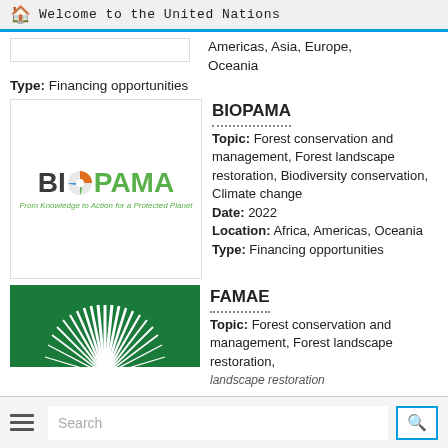Welcome to the United Nations
Americas, Asia, Europe, Oceania
Type: Financing opportunities
[Figure (logo): BIOPAMA logo with globe icon and tagline 'From Knowledge to Action for a Protected Planet']
BIOPAMA
Topic: Forest conservation and management, Forest landscape restoration, Biodiversity conservation, Climate change
Date: 2022
Location: Africa, Americas, Oceania
Type: Financing opportunities
[Figure (logo): FAMAE logo - green background with white fan/sunburst design]
FAMAE
Topic: Forest conservation and management, Forest landscape restoration,
Search